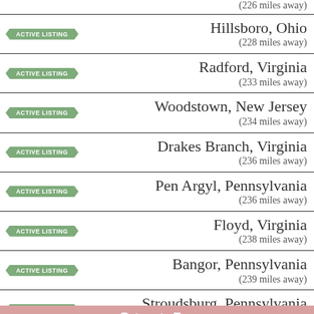(226 miles away)
Hillsboro, Ohio (228 miles away)
Radford, Virginia (233 miles away)
Woodstown, New Jersey (234 miles away)
Drakes Branch, Virginia (236 miles away)
Pen Argyl, Pennsylvania (236 miles away)
Floyd, Virginia (238 miles away)
Bangor, Pennsylvania (239 miles away)
Stroudsburg, Pennsylvania (241 miles away)
Return to Top